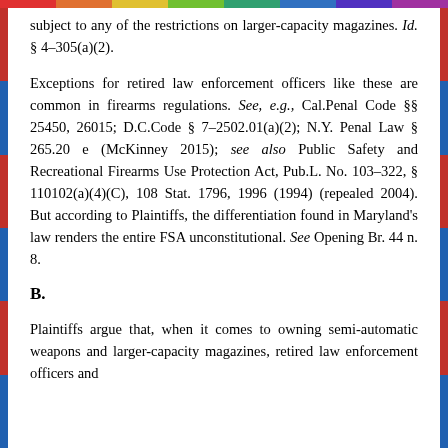subject to any of the restrictions on larger-capacity magazines. Id. § 4-305(a)(2).
Exceptions for retired law enforcement officers like these are common in firearms regulations. See, e.g., Cal.Penal Code §§ 25450, 26015; D.C.Code § 7-2502.01(a)(2); N.Y. Penal Law § 265.20 e (McKinney 2015); see also Public Safety and Recreational Firearms Use Protection Act, Pub.L. No. 103-322, § 110102(a)(4)(C), 108 Stat. 1796, 1996 (1994) (repealed 2004). But according to Plaintiffs, the differentiation found in Maryland's law renders the entire FSA unconstitutional. See Opening Br. 44 n. 8.
B.
Plaintiffs argue that, when it comes to owning semi-automatic weapons and larger-capacity magazines, retired law enforcement officers and